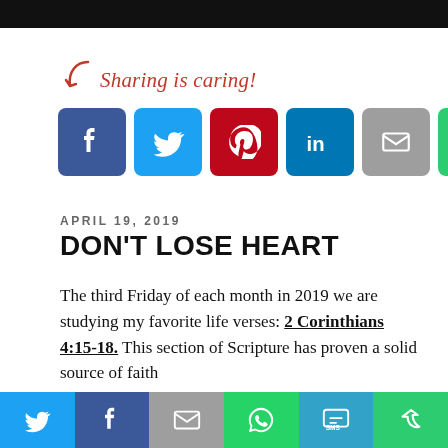[Figure (infographic): Sharing is caring! social share buttons: Facebook (blue), Twitter (light blue), Pinterest (red), LinkedIn (blue), Email (grey), Share (green)]
APRIL 19, 2019
DON'T LOSE HEART
The third Friday of each month in 2019 we are studying my favorite life verses: 2 Corinthians 4:15-18. This section of Scripture has proven a solid source of faith f…
[Figure (infographic): Bottom share bar with Twitter, Facebook, Email, WhatsApp, SMS, and Share buttons]